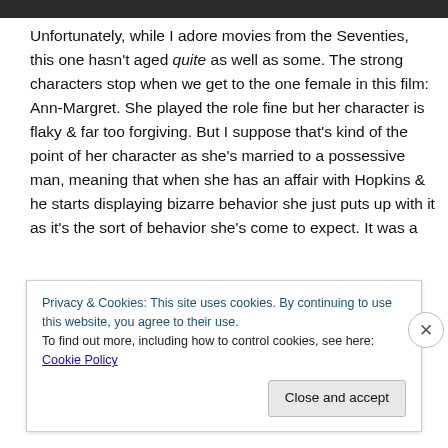[Figure (photo): Dark horizontal photo strip at top of page]
Unfortunately, while I adore movies from the Seventies, this one hasn't aged quite as well as some. The strong characters stop when we get to the one female in this film: Ann-Margret. She played the role fine but her character is flaky & far too forgiving. But I suppose that's kind of the point of her character as she's married to a possessive man, meaning that when she has an affair with Hopkins & he starts displaying bizarre behavior she just puts up with it as it's the sort of behavior she's come to expect. It was a different time, though, and I can think about the film...
Privacy & Cookies: This site uses cookies. By continuing to use this website, you agree to their use.
To find out more, including how to control cookies, see here: Cookie Policy
Close and accept